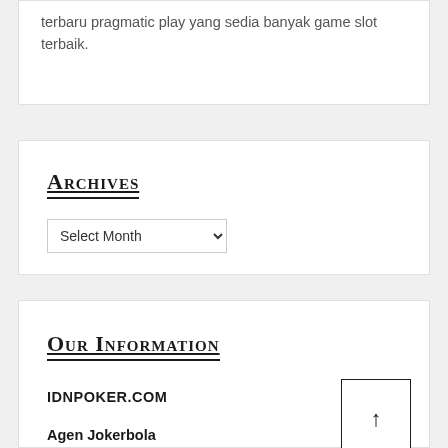terbaru pragmatic play yang sedia banyak game slot terbaik.
Archives
Select Month
Our Information
IDNPOKER.COM
Agen Jokerbola